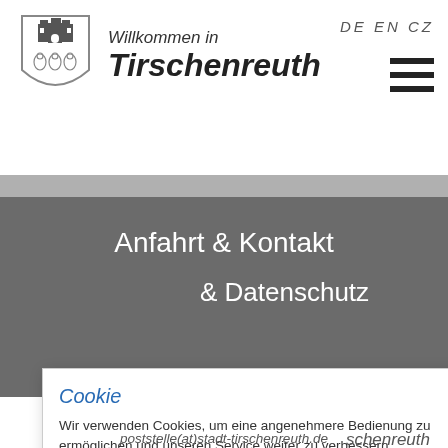[Figure (logo): Coat of arms / city seal of Tirschenreuth — shield with tower and figures]
Willkommen in Tirschenreuth
DE  EN  CZ
[Figure (illustration): Hamburger menu icon — three horizontal bars]
Anfahrt & Kontakt
& Datenschutz
anplatz 35
schenreuth
) 609-0
Cookie
Wir verwenden Cookies, um eine angenehmere Bedienung zu ermöglichen und unseren Service weiter zu verbessern.
Alle Cookies verwenden
Cookies verwalten
Cookies ablehnen
poststelle(at)stadt-tirschenreuth.de